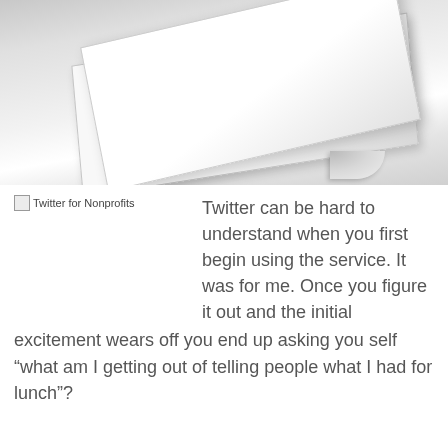[Figure (photo): A stack of white papers or a book with pages fanning, photographed against a light grey background. The papers appear to be curling at the bottom right corner.]
[Figure (illustration): Broken image placeholder icon labeled 'Twitter for Nonprofits']
Twitter can be hard to understand when you first begin using the service. It was for me. Once you figure it out and the initial excitement wears off you end up asking you self “what am I getting out of telling people what I had for lunch”?